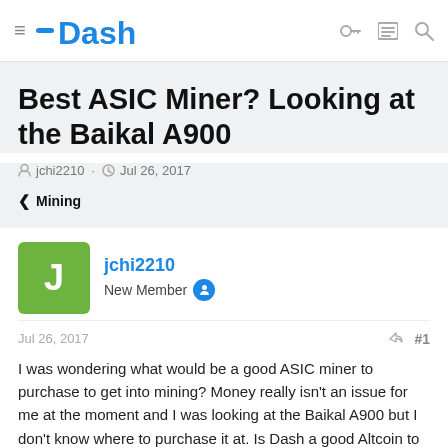Dash — navigation bar
Best ASIC Miner? Looking at the Baikal A900
jchi2210 · Jul 26, 2017
< Mining
jchi2210
New Member
Jul 26, 2017
I was wondering what would be a good ASIC miner to purchase to get into mining? Money really isn't an issue for me at the moment and I was looking at the Baikal A900 but I don't know where to purchase it at. Is Dash a good Altcoin to mine? any help would be